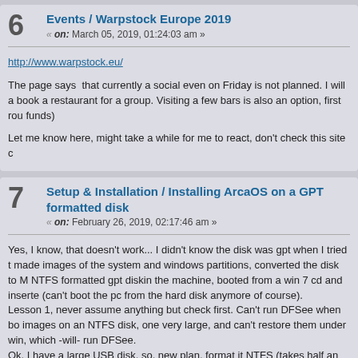6  Events / Warpstock Europe 2019
« on: March 05, 2019, 01:24:03 am »
http://www.warpstock.eu/
The page says  that currently a social even on Friday is not planned. I will a book a restaurant for a group. Visiting a few bars is also an option, first rou funds)
Let me know here, might take a while for me to react, don't check this site c
7  Setup & Installation / Installing ArcaOS on a GPT formatted disk
« on: February 26, 2019, 02:17:46 am »
Yes, I know, that doesn't work... I didn't know the disk was gpt when I tried t made images of the system and windows partitions, converted the disk to M NTFS formatted gpt diskin the machine, booted from a win 7 cd and inserte (can't boot the pc from the hard disk anymore of course).
Lesson 1, never assume anything but check first. Can't run DFSee when bo images on an NTFS disk, one very large, and can't restore them under win, which -will- run DFSee.
Ok, I have a large USB disk, so, new plan, format it NTFS (takes half an an other pc, copy the files over, reformat the USB disk to JFS, copy back and c And so I find out the poet Burns was right, the best laid plans.... Netdrive th drive. Install NTFS003 package from Hobbes. Also doesn't work, tells me o